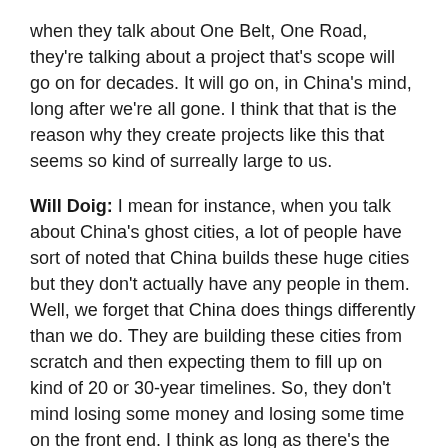when they talk about One Belt, One Road, they're talking about a project that's scope will go on for decades. It will go on, in China's mind, long after we're all gone. I think that that is the reason why they create projects like this that seems so kind of surreally large to us.
Will Doig: I mean for instance, when you talk about China's ghost cities, a lot of people have sort of noted that China builds these huge cities but they don't actually have any people in them. Well, we forget that China does things differently than we do. They are building these cities from scratch and then expecting them to fill up on kind of 20 or 30-year timelines. So, they don't mind losing some money and losing some time on the front end. I think as long as there's the expectation that eventually these projects will come to benefit a future China, because they see themselves as the next world superpower and they are.